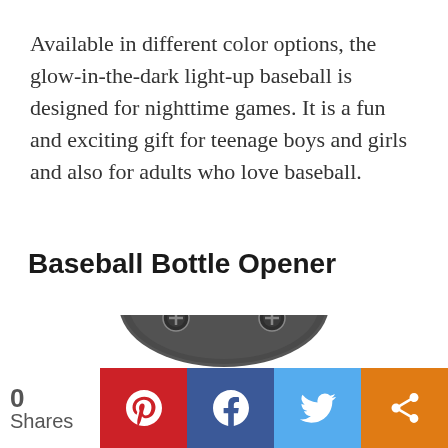Available in different color options, the glow-in-the-dark light-up baseball is designed for nighttime games. It is a fun and exciting gift for teenage boys and girls and also for adults who love baseball.
Baseball Bottle Opener
[Figure (photo): Top-down view of a dark metallic baseball bottle opener with screws visible]
0 Shares